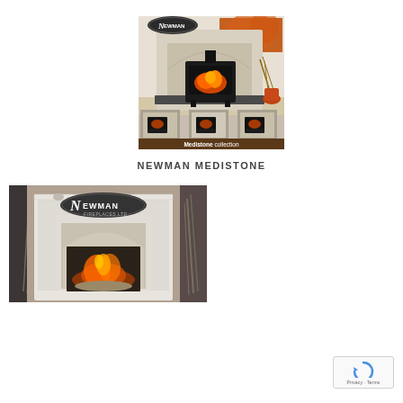[Figure (photo): Newman Medistone collection catalog cover showing a stone fireplace surround with wood-burning stove, three thumbnail images below, and 'Medistone collection' text at the bottom. Newman logo at top left.]
NEWMAN MEDISTONE
[Figure (photo): Newman Fireplaces Ltd showroom photo of a white painted fireplace surround with gas fire burning inside, decorative grasses on either side. Newman logo visible at top.]